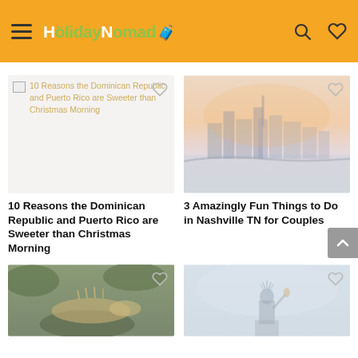HolidayNomad (navigation header with hamburger menu, logo, search and heart icons)
[Figure (screenshot): Broken/placeholder image for '10 Reasons the Dominican Republic and Puerto Rico are Sweeter than Christmas Morning' article card with heart icon overlay]
[Figure (photo): Nashville TN cityscape at sunset with orange/pink sky reflected in river, with heart icon overlay]
10 Reasons the Dominican Republic and Puerto Rico are Sweeter than Christmas Morning
3 Amazingly Fun Things to Do in Nashville TN for Couples
[Figure (photo): Green iguana lizard in tropical foliage with heart icon overlay]
[Figure (photo): Statue of Liberty in misty/cloudy sky with heart icon overlay]